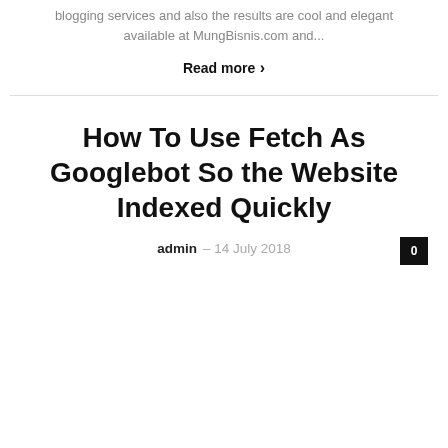blogging services and also the results are cool and elegant available at MungBisnis.com and...
Read more ›
How To Use Fetch As Googlebot So the Website Indexed Quickly
admin – 14 July 2018  0